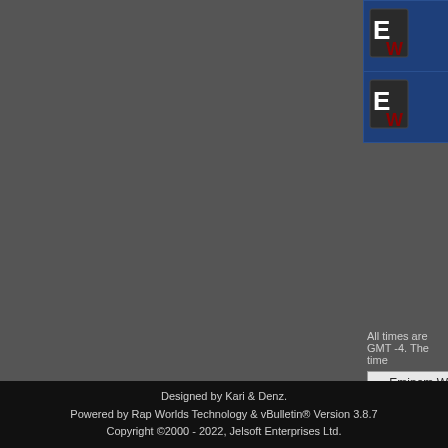| Icon | Forum | Last Post |
| --- | --- | --- |
| [EW icon] | Film & Entertainment RSS Feed
(4 Viewing)
Talk about tha latest films, video games, and TV. | The Freeze HipHo...
by MCD
09-2... |
| [EW icon] | Jokes
Jokes RSS Feed
(1 Viewing) | conceive these tri...
by MCD
09-2... |
Forum Contains New Posts
Forum Contains No New Posts
Forum is Closed for Posting
All times are GMT -4. The time...
-- Eminem Web
Designed by Kari & Denz.
Powered by Rap Worlds Technology & vBulletin® Version 3.8.7
Copyright ©2000 - 2022, Jelsoft Enterprises Ltd.